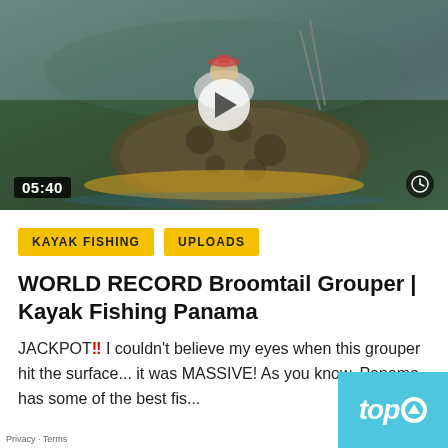[Figure (photo): Video thumbnail showing a person on a kayak holding a massive Broomtail Grouper fish on water, with a play button overlay showing duration 05:40]
KAYAK FISHING
UPLOADS
WORLD RECORD Broomtail Grouper | Kayak Fishing Panama
JACKPOT!! I couldn't believe my eyes when this grouper hit the surface... it was MASSIVE! As you know, Panama has some of the best fis...